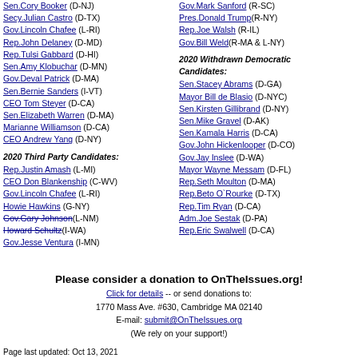Sen.Cory Booker (D-NJ)
Secy.Julian Castro (D-TX)
Gov.Lincoln Chafee (L-RI)
Rep.John Delaney (D-MD)
Rep.Tulsi Gabbard (D-HI)
Sen.Amy Klobuchar (D-MN)
Gov.Deval Patrick (D-MA)
Sen.Bernie Sanders (I-VT)
CEO Tom Steyer (D-CA)
Sen.Elizabeth Warren (D-MA)
Marianne Williamson (D-CA)
CEO Andrew Yang (D-NY)
2020 Third Party Candidates:
Rep.Justin Amash (L-MI)
CEO Don Blankenship (C-WV)
Gov.Lincoln Chafee (L-RI)
Howie Hawkins (G-NY)
Gov.Gary Johnson (L-NM) [strikethrough]
Howard Schultz (I-WA) [strikethrough]
Gov.Jesse Ventura (I-MN)
Gov.Mark Sanford (R-SC)
Pres.Donald Trump (R-NY)
Rep.Joe Walsh (R-IL)
Gov.Bill Weld (R-MA & L-NY)
2020 Withdrawn Democratic Candidates:
Sen.Stacey Abrams (D-GA)
Mayor Bill de Blasio (D-NYC)
Sen.Kirsten Gillibrand (D-NY)
Sen.Mike Gravel (D-AK)
Sen.Kamala Harris (D-CA)
Gov.John Hickenlooper (D-CO)
Gov.Jay Inslee (D-WA)
Mayor Wayne Messam (D-FL)
Rep.Seth Moulton (D-MA)
Rep.Beto O`Rourke (D-TX)
Rep.Tim Ryan (D-CA)
Adm.Joe Sestak (D-PA)
Rep.Eric Swalwell (D-CA)
Please consider a donation to OnTheIssues.org!
Click for details -- or send donations to:
1770 Mass Ave. #630, Cambridge MA 02140
E-mail: submit@OnTheIssues.org
(We rely on your support!)
Page last updated: Oct 13, 2021